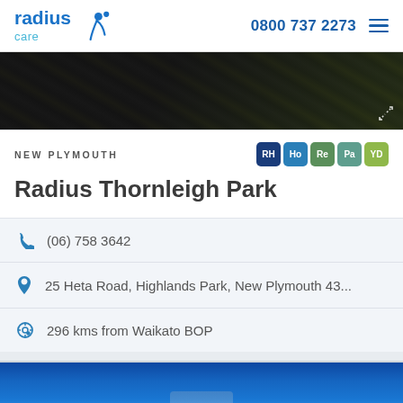radius care | 0800 737 2273
[Figure (photo): Brick pathway at night, aerial/overhead view]
NEW PLYMOUTH
RH Ho Re Pa YD
Radius Thornleigh Park
(06) 758 3642
25 Heta Road, Highlands Park, New Plymouth 43...
296 kms from Waikato BOP
[Figure (photo): Blue sky exterior photo of facility, bottom portion visible]